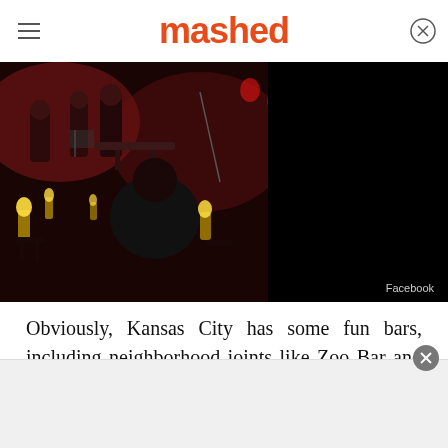mashed
[Figure (photo): Dark bar scene with patrons seated at tables, candles on tables, warm red lighting, musicians or performers visible in background]
Facebook
Obviously, Kansas City has some fun bars, including neighborhood joints like Zoo Bar and sports dives like Charlie Hooper's Bar & Grille and Tower Tavern. But for a truly KC night of